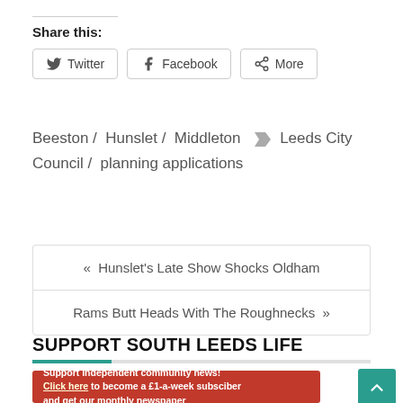Share this:
Twitter
Facebook
More
Beeston / Hunslet / Middleton  Leeds City Council / planning applications
« Hunslet's Late Show Shocks Oldham
Rams Butt Heads With The Roughnecks »
SUPPORT SOUTH LEEDS LIFE
Support independent community news!
Click here to become a £1-a-week subsciber and get our monthly newspaper